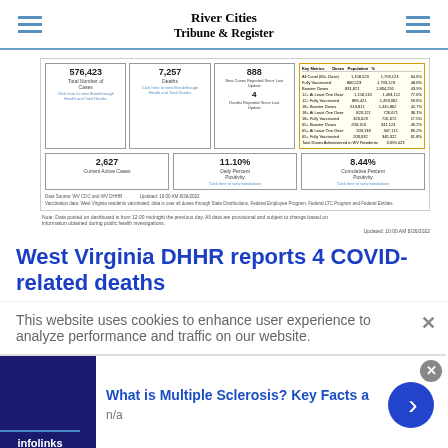River Cities Tribune & Register
[Figure (screenshot): West Virginia DHHR COVID-19 dashboard screenshot showing 576,423 Total Number of Cases, 7,257 Deaths, 888 New Cases Reported Since Last Update, 4 Deaths Reported Since Last Update, 2,627 Current Active Cases, 11.10% Daily Percent Positivity, 8.44% Cumulative Percent Positivity, and a vaccination data table on the right side.]
West Virginia DHHR reports 4 COVID-related deaths
This website uses cookies to enhance user experience to analyze performance and traffic on our website.
[Figure (infographic): Advertisement banner: 'What is Multiple Sclerosis? Key Facts a' with neural image and n/a label, from infolinks.]